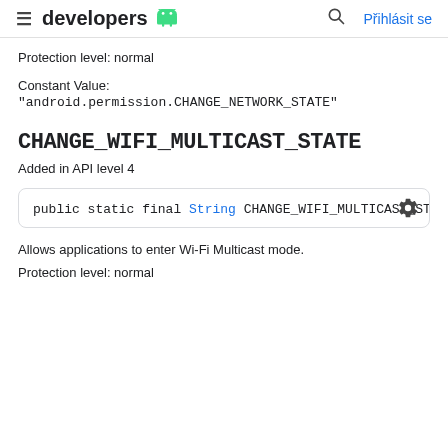developers  Přihlásit se
Protection level: normal
Constant Value:
"android.permission.CHANGE_NETWORK_STATE"
CHANGE_WIFI_MULTICAST_STATE
Added in API level 4
public static final String CHANGE_WIFI_MULTICAST_STA
Allows applications to enter Wi-Fi Multicast mode.
Protection level: normal